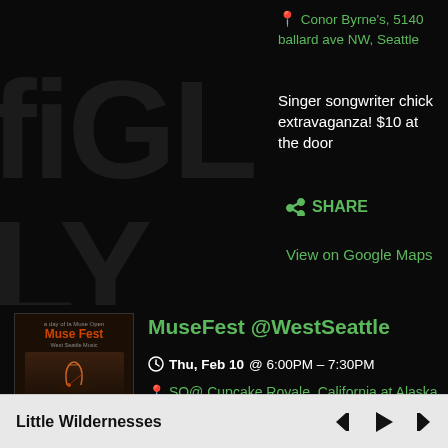Conor Byrne's, 5140 ballard ave NW, Seattle
Singer songwriter chick extravaganza! $10 at the door
SHARE
View on Google Maps
MuseFest @WestSeattle
Thu, Feb 10 @ 6:00PM – 7:30PM
SQ@ Cupcake Royale, California at Alaska street, WEst SEattle
Various women artists throughout venues
[Figure (photo): MuseFest event poster thumbnail showing a guitarist silhouette with event details]
Little Wildernesses